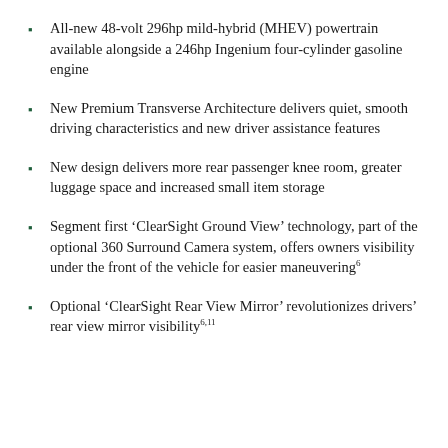All-new 48-volt 296hp mild-hybrid (MHEV) powertrain available alongside a 246hp Ingenium four-cylinder gasoline engine
New Premium Transverse Architecture delivers quiet, smooth driving characteristics and new driver assistance features
New design delivers more rear passenger knee room, greater luggage space and increased small item storage
Segment first ‘ClearSight Ground View’ technology, part of the optional 360 Surround Camera system, offers owners visibility under the front of the vehicle for easier maneuvering⁶
Optional ‘ClearSight Rear View Mirror’ revolutionizes drivers’ rear view mirror visibility⁶·¹¹